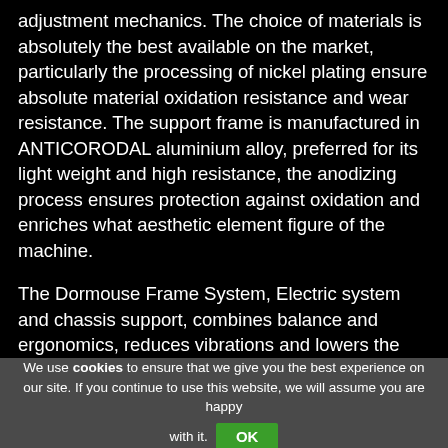adjustment mechanics. The choice of materials is absolutely the best available on the market, particularly the processing of nickel plating ensure absolute material oxidation resistance and wear resistance. The support frame is manufactured in ANTICORODAL aluminium alloy, preferred for its light weight and high resistance, the anodizing process ensures protection against oxidation and enriches what aesthetic element figure of the machine.
The Dormouse Frame System, Electric system and chassis support, combines balance and ergonomics, reduces vibrations and lowers the center of gravity, making it easy to use and reducing fatigue.
We use cookies to ensure that we give you the best experience on our site. If you continue to use this website, we will assume you are happy with it. OK